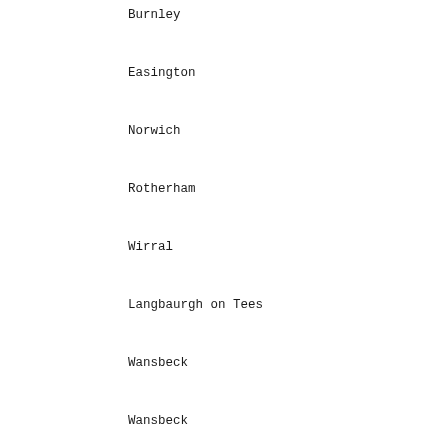Burnley | Initiative
Easington | East Durham
Norwich | Norwich Mil
Rotherham | Shaping Rot
Wirral | Hamilton Qu
Langbaurgh on Tees | Grangetown
Wansbeck | Wansbeck In
Wansbeck | Aiming High
Stoke on Trent | Cobridge Co
Tameside | Tame Valley
Derwentshire | Consett Sou
Hove | Hove Means
Stockton on Tees | Tilery Proj
Hastings | The Battle
Wakefield | SESKU-Wakef
Oxford | Blackbird L
Sefton | Netherton
Sefton | Bootle Vill
Wigan | Wigan Plc